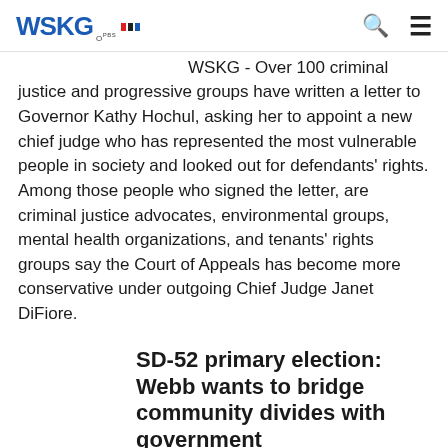WSKG
WSKG - Over 100 criminal justice and progressive groups have written a letter to Governor Kathy Hochul, asking her to appoint a new chief judge who has represented the most vulnerable people in society and looked out for defendants' rights. Among those people who signed the letter, are criminal justice advocates, environmental groups, mental health organizations, and tenants' rights groups say the Court of Appeals has become more conservative under outgoing Chief Judge Janet DiFiore.
SD-52 primary election: Webb wants to bridge community divides with government
Lea Webb is running as one of two